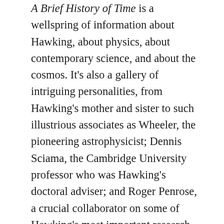A Brief History of Time is a wellspring of information about Hawking, about physics, about contemporary science, and about the cosmos. It's also a gallery of intriguing personalities, from Hawking's mother and sister to such illustrious associates as Wheeler, the pioneering astrophysicist; Dennis Sciama, the Cambridge University professor who was Hawking's doctoral adviser; and Roger Penrose, a crucial collaborator on some of Hawking's most important research. Last but light-years away from least, A Brief History of Time is a magnificent work of cinema, weaving together its diverse elements with an ingenuity that reaffirms Morris's stature as one of the greatest nonfiction filmmakers. Not all of them are sublime in themselves—as witness an